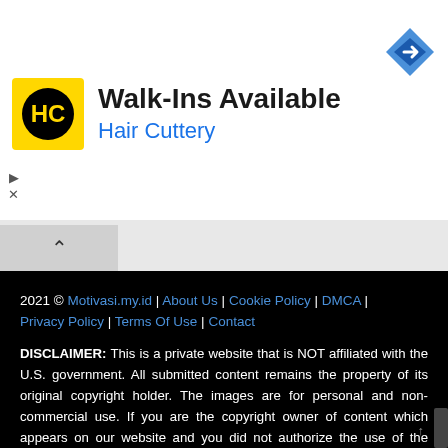[Figure (logo): Hair Cuttery logo - yellow square with HC letters in black circle]
Walk-Ins Available
Hair Cuttery
[Figure (other): Blue diamond navigation arrow icon]
2021 © Motivasi.my.id | About Us | Cookie Policy | DMCA | Privacy Policy | Terms Of Use | Contact DISCLAIMER: This is a private website that is NOT affiliated with the U.S. government. All submitted content remains the property of its original copyright holder. The images are for personal and non-commercial use. If you are the copyright owner of content which appears on our website and you did not authorize the use of the content, you must notify us by contacting us to identify the allegedly infringing content and take action.